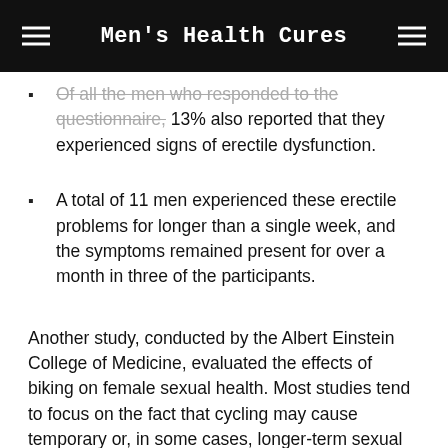Men's Health Cures
Of all the men who responded to the questionnaire, 13% also reported that they experienced signs of erectile dysfunction.
A total of 11 men experienced these erectile problems for longer than a single week, and the symptoms remained present for over a month in three of the participants.
Another study, conducted by the Albert Einstein College of Medicine, evaluated the effects of biking on female sexual health. Most studies tend to focus on the fact that cycling may cause temporary or, in some cases, longer-term sexual issues in men, but